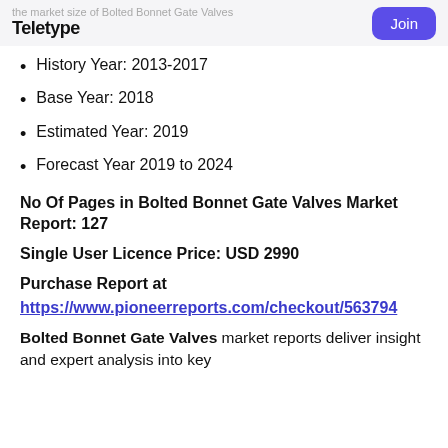the market size of Bolted Bonnet Gate Valves
Teletype | Join
History Year: 2013-2017
Base Year: 2018
Estimated Year: 2019
Forecast Year 2019 to 2024
No Of Pages in Bolted Bonnet Gate Valves Market Report: 127
Single User Licence Price: USD 2990
Purchase Report at https://www.pioneerreports.com/checkout/563794
Bolted Bonnet Gate Valves market reports deliver insight and expert analysis into key